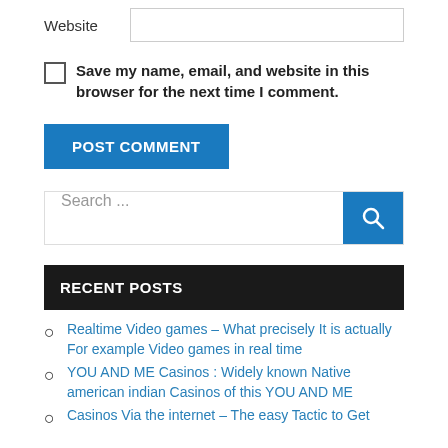Website
Save my name, email, and website in this browser for the next time I comment.
POST COMMENT
Search ...
RECENT POSTS
Realtime Video games – What precisely It is actually For example Video games in real time
YOU AND ME Casinos : Widely known Native american indian Casinos of this YOU AND ME
Casinos Via the internet – The easy Tactic to Get